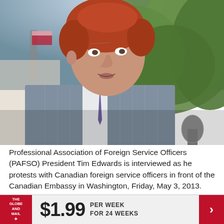[Figure (photo): A red-haired man in a grey pinstripe suit and purple tie speaking at a microphone outdoors, with green trees and a flag in the background.]
Professional Association of Foreign Service Officers (PAFSO) President Tim Edwards is interviewed as he protests with Canadian foreign service officers in front of the Canadian Embassy in Washington, Friday, May 3, 2013.
CHARLES DHARAPAK/THE ASSOCIATED PRESS
THE GLOBE AND MAIL  $1.99  PER WEEK FOR 24 WEEKS